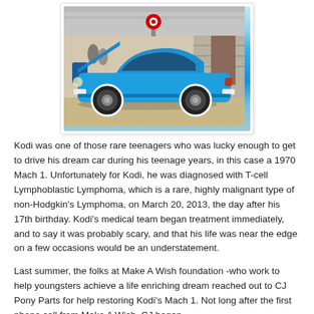[Figure (photo): A blue 1970 Ford Mustang Mach 1 with the hood open, photographed from the side inside a garage. The car is bright blue with black wheels.]
Kodi was one of those rare teenagers who was lucky enough to get to drive his dream car during his teenage years, in this case a 1970 Mach 1. Unfortunately for Kodi, he was diagnosed with T-cell Lymphoblastic Lymphoma, which is a rare, highly malignant type of non-Hodgkin's Lymphoma, on March 20, 2013, the day after his 17th birthday. Kodi's medical team began treatment immediately, and to say it was probably scary, and that his life was near the edge on a few occasions would be an understatement.
Last summer, the folks at Make A Wish foundation -who work to help youngsters achieve a life enriching dream reached out to CJ Pony Parts for help restoring Kodi's Mach 1. Not long after the first phone call from Make A Wish, CJ began